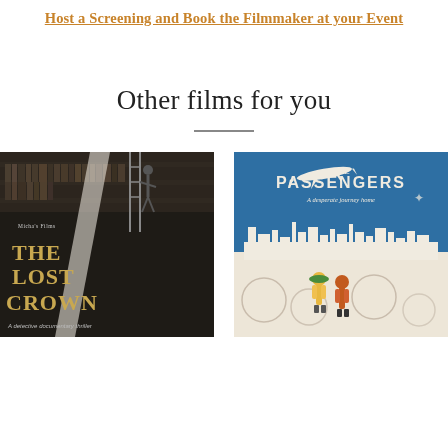Host a Screening and Book the Filmmaker at your Event
Other films for you
[Figure (illustration): Movie poster for 'The Lost Crown' — dark archival documentary style with a person climbing shelves in a large archive. Text reads: Micha's Films presents, THE LOST CROWN. Subtitle: A detective documentary thriller.]
[Figure (illustration): Movie poster for 'The Passengers' — blue illustrated style with airplane silhouette, city skyline, two figures from behind, passport stamps. Text reads: THE PASSENGERS. A desperate journey home.]